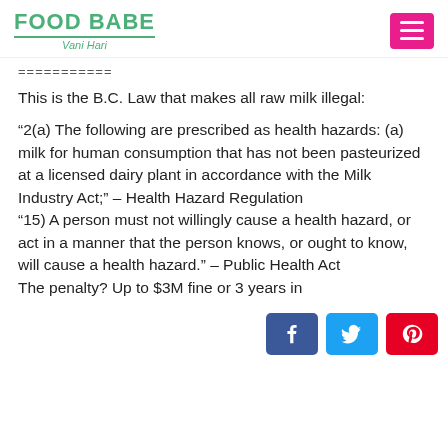FOOD BABE Vani Hari
===========
This is the B.C. Law that makes all raw milk illegal:
“2(a) The following are prescribed as health hazards: (a) milk for human consumption that has not been pasteurized at a licensed dairy plant in accordance with the Milk Industry Act;” – Health Hazard Regulation “15) A person must not willingly cause a health hazard, or act in a manner that the person knows, or ought to know, will cause a health hazard.” – Public Health Act The penalty? Up to $3M fine or 3 years in